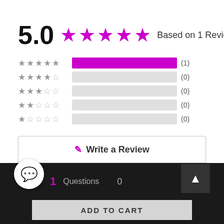5.0 ★★★★★ Based on 1 Reviews
[Figure (bar-chart): Rating distribution]
Write a Review
Ask a Question
1   Questions   0
ADD TO CART